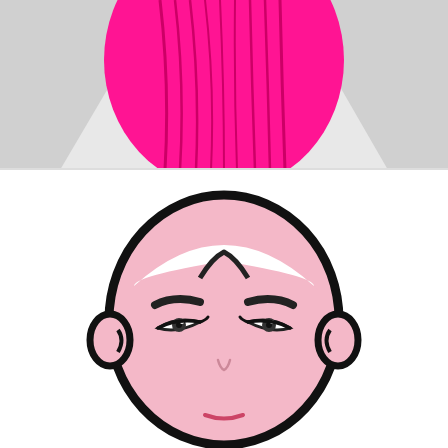[Figure (illustration): Top portion shows a photo of a bright pink/magenta pleated fabric or garment against a light gray background. Bottom portion shows a flat vector illustration of a woman's face with pink skin, dark eyebrows, eyes with eyeliner, small ears, and hair pulled back with a white headband, on a white background.]